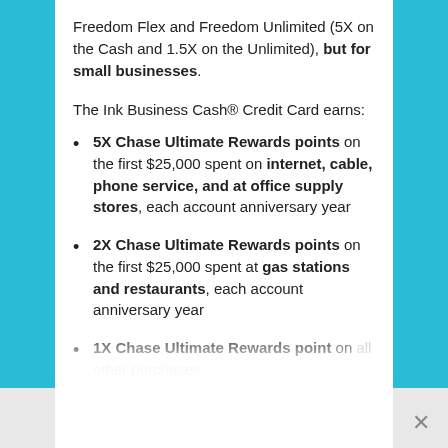Freedom Flex and Freedom Unlimited (5X on the Cash and 1.5X on the Unlimited), but for small businesses.
The Ink Business Cash® Credit Card earns:
5X Chase Ultimate Rewards points on the first $25,000 spent on internet, cable, phone service, and at office supply stores, each account anniversary year
2X Chase Ultimate Rewards points on the first $25,000 spent at gas stations and restaurants, each account anniversary year
1X Chase Ultimate Rewards point on all other purchases